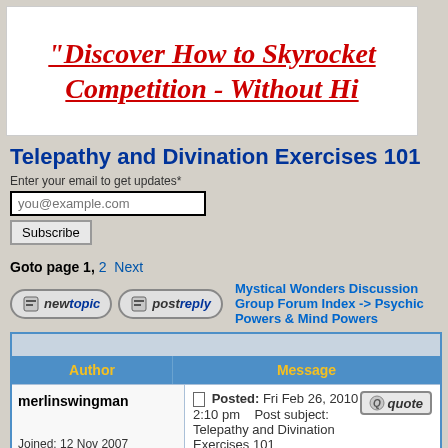[Figure (other): Banner advertisement with red italic bold text: “Discover How to Skyrocket Competition - Without Hi” (text cut off)]
Telepathy and Divination Exercises 101
Enter your email to get updates*
you@example.com
Subscribe
Goto page 1, 2 Next
newtopic   postreply   Mystical Wonders Discussion Group Forum Index -> Psychic Powers & Mind Powers
| Author | Message |
| --- | --- |
| merlinswingman

Joined: 12 Nov 2007
Posts: 197 | Posted: Fri Feb 26, 2010 2:10 pm   Post subject: Telepathy and Divination Exercises 101

The following are some beginning exercises to assist with Telepathy and Divination / Dowsing . They are meant to be used with some of the |